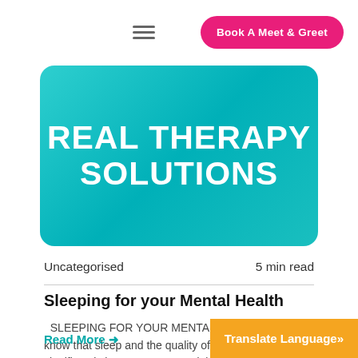Book A Meet & Greet
[Figure (logo): Real Therapy Solutions logo on teal/turquoise gradient banner background with white bold text reading REAL THERAPY SOLUTIONS]
Uncategorised   5 min read
Sleeping for your Mental Health
SLEEPING FOR YOUR MENTAL HEALTH Did you know that sleep and the quality of sleep you have significantly impacts your mood, behaviour, emotional wellbeing, the decisions you make and how focused...
Read More →
Translate Language»